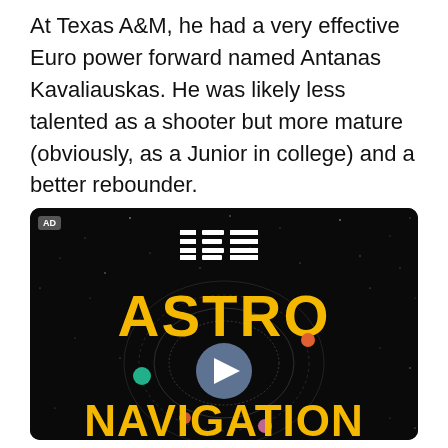At Texas A&M, he had a very effective Euro power forward named Antanas Kavaliauskas. He was likely less talented as a shooter but more mature (obviously, as a Junior in college) and a better rebounder.
[Figure (other): IBM advertisement image with space/astronomy theme. Dark starfield background with IBM striped logo at top, large gold text 'ASTRO' and 'NAVIGATION' with orbital ring graphics and a video play button in the center. Small colored dots (teal and orange) float near orbital rings.]